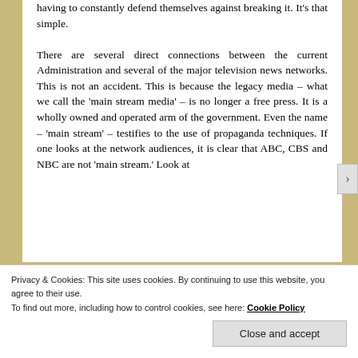having to constantly defend themselves against breaking it. It's that simple.

There are several direct connections between the current Administration and several of the major television news networks. This is not an accident. This is because the legacy media – what we call the 'main stream media' – is no longer a free press. It is a wholly owned and operated arm of the government. Even the name – 'main stream' – testifies to the use of propaganda techniques. If one looks at the network audiences, it is clear that ABC, CBS and NBC are not 'main stream.' Look at
Privacy & Cookies: This site uses cookies. By continuing to use this website, you agree to their use.
To find out more, including how to control cookies, see here: Cookie Policy
Close and accept